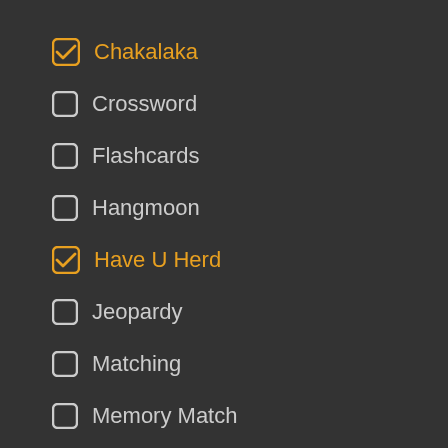Chakalaka
Crossword
Flashcards
Hangmoon
Have U Herd
Jeopardy
Matching
Memory Match
Rapid Fire
Sequence